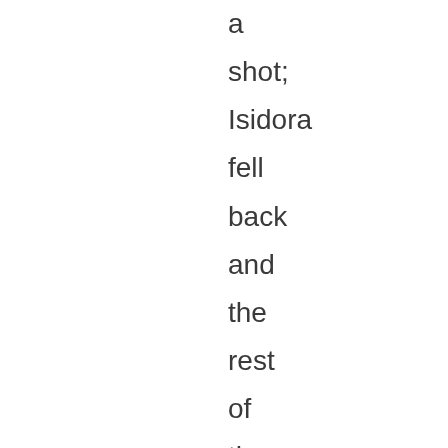a shot; Isidora fell back and the rest of the mob scattered. York drove off and shortly afterwards